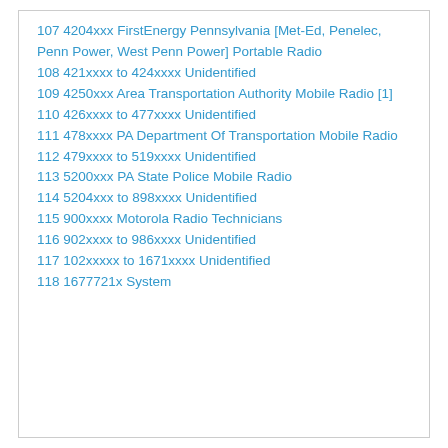107 4204xxx FirstEnergy Pennsylvania [Met-Ed, Penelec, Penn Power, West Penn Power] Portable Radio
108 421xxxx to 424xxxx Unidentified
109 4250xxx Area Transportation Authority Mobile Radio [1]
110 426xxxx to 477xxxx Unidentified
111 478xxxx PA Department Of Transportation Mobile Radio
112 479xxxx to 519xxxx Unidentified
113 5200xxx PA State Police Mobile Radio
114 5204xxx to 898xxxx Unidentified
115 900xxxx Motorola Radio Technicians
116 902xxxx to 986xxxx Unidentified
117 102xxxxx to 1671xxxx Unidentified
118 1677721x System